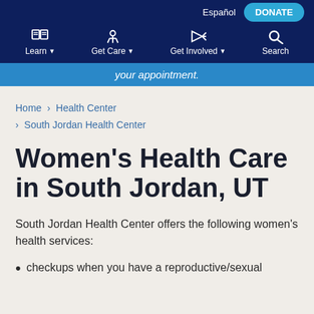Español  DONATE
Learn  Get Care  Get Involved  Search
your appointment.
Home › Health Center › South Jordan Health Center
Women's Health Care in South Jordan, UT
South Jordan Health Center offers the following women's health services:
checkups when you have a reproductive/sexual